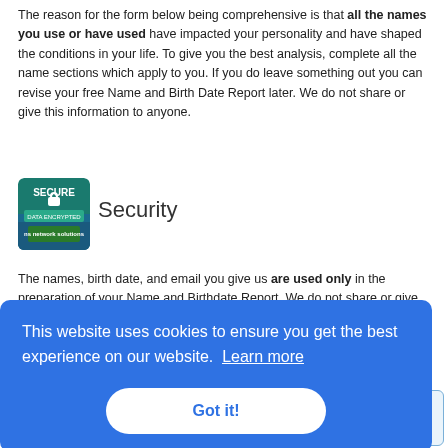The reason for the form below being comprehensive is that all the names you use or have used have impacted your personality and have shaped the conditions in your life. To give you the best analysis, complete all the name sections which apply to you. If you do leave something out you can revise your free Name and Birth Date Report later. We do not share or give this information to anyone.
[Figure (logo): Network Solutions SECURE DATA ENCRYPTED badge logo]
Security
The names, birth date, and email you give us are used only in the preparation of your Name and Birthdate Report. We do not share or give this information to anyone. [Privacy and Security Policy]
[Figure (screenshot): Cookie consent banner: 'This website uses cookies to ensure you get the best experience on our website. Learn more' with a 'Got it!' button]